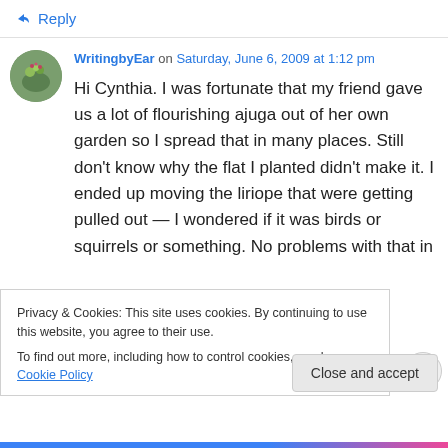↳ Reply
WritingbyEar on Saturday, June 6, 2009 at 1:12 pm
Hi Cynthia. I was fortunate that my friend gave us a lot of flourishing ajuga out of her own garden so I spread that in many places. Still don't know why the flat I planted didn't make it. I ended up moving the liriope that were getting pulled out — I wondered if it was birds or squirrels or something. No problems with that in
Privacy & Cookies: This site uses cookies. By continuing to use this website, you agree to their use.
To find out more, including how to control cookies, see here: Cookie Policy
Close and accept